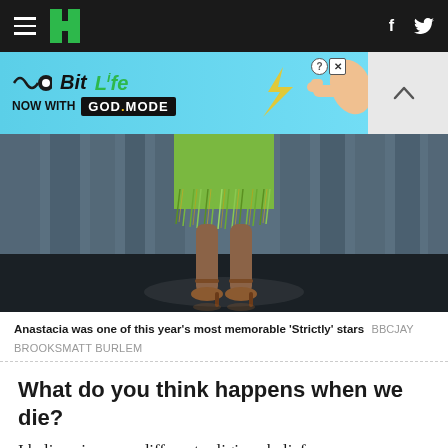HuffPost navigation bar with hamburger menu, logo, Facebook and Twitter icons
[Figure (screenshot): BitLife advertisement banner: 'NOW WITH GOD MODE' on cyan background with hand pointing finger graphic]
[Figure (photo): Close-up of a dancer's legs and feet in sparkly green fringe costume and strappy heeled sandals on a reflective stage floor]
Anastacia was one of this year's most memorable 'Strictly' stars BBCJAY BROOKSMATT BURLEM
What do you think happens when we die?
I believe in many different religious beliefs, as